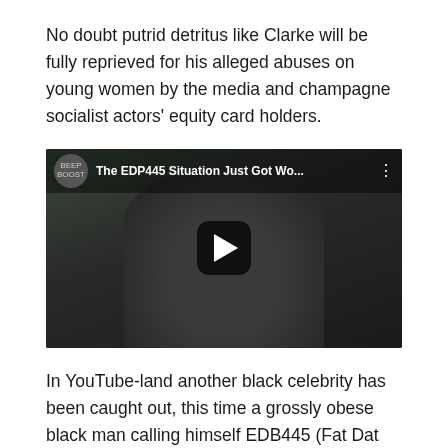No doubt putrid detritus like Clarke will be fully reprieved for his alleged abuses on young women by the media and champagne socialist actors' equity card holders.
[Figure (screenshot): Embedded YouTube video thumbnail showing a large man in a dark sweatshirt sitting outside near a stone wall. Video title overlay reads 'The EDP445 Situation Just Got Wo...' with a play button in the center.]
In YouTube-land another black celebrity has been caught out, this time a grossly obese black man calling himself EDB445 (Fat Dat Pussy 445) who was caught out arranging to meet a